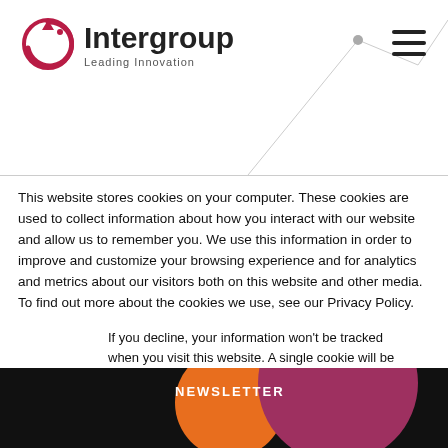[Figure (logo): Intergroup logo with circular arrow icon and tagline 'Leading Innovation']
This website stores cookies on your computer. These cookies are used to collect information about how you interact with our website and allow us to remember you. We use this information in order to improve and customize your browsing experience and for analytics and metrics about our visitors both on this website and other media. To find out more about the cookies we use, see our Privacy Policy.
If you decline, your information won't be tracked when you visit this website. A single cookie will be used in your browser to remember your preference not to be tracked.
NEWSLETTER